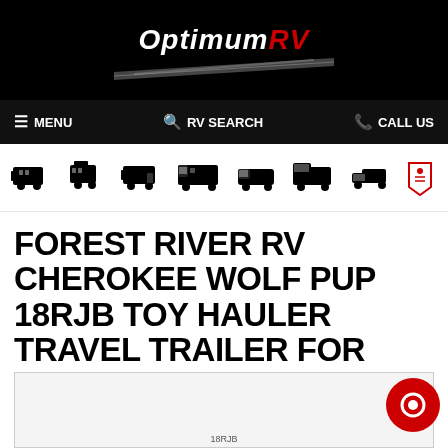OptimumRV
MENU | RV SEARCH | CALL US
[Figure (illustration): Row of RV and vehicle category icons: travel trailer, 5th wheel, toy hauler, motorhome, van, class C, truck, price tag]
FOREST RIVER RV CHEROKEE WOLF PUP 18RJB TOY HAULER TRAVEL TRAILER FOR SALE
[Figure (photo): Partial view of the 18RJB travel trailer listing image, cut off at bottom with label 18RJB]